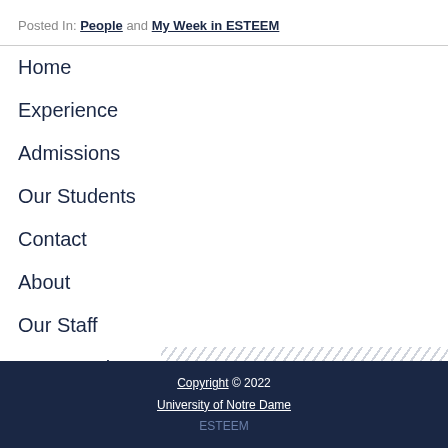Posted In: People and My Week in ESTEEM
Home
Experience
Admissions
Our Students
Contact
About
Our Staff
News & Blogs
Copyright © 2022 University of Notre Dame ESTEEM